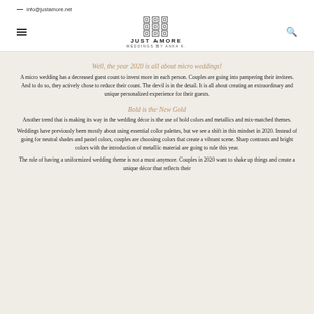— info@justamore.net
[Figure (logo): Just Amore Weddings by Anka K. logo with decorative pattern icon]
Well, the year 2020 is all about micro weddings!
A micro wedding has a decreased guest count to invest more in each person. Couples are going into pampering their invitees. And to do so, they actively chose to reduce their count. The devil is in the detail. It is all about creating an extraordinary and unique personalized experience for their guests.
Bold is the New Gold
Another trend that is making its way in the wedding décor is the use of bold colors and metallics and mix-matched themes.
Weddings have previously been mostly about using essential color palettes, but we see a shift in this mindset in 2020. Instead of going for neutral shades and pastel colors, couples are choosing colors that create a vibrant scene. Sharp contrasts and bright colors with the introduction of metallic material are going to rule this year.
The rule of having a uniformized wedding theme is not a must anymore. Couples in 2020 want to shake up things and create a unique décor that reflects their